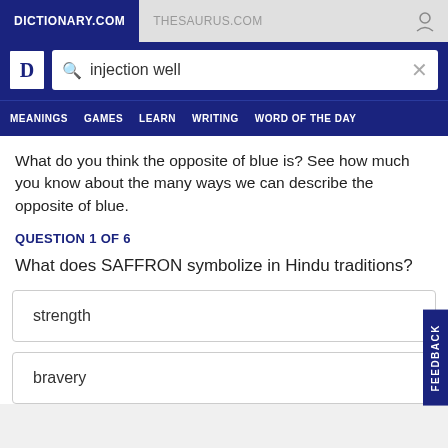DICTIONARY.COM | THESAURUS.COM
[Figure (screenshot): Dictionary.com logo with letter D]
injection well
MEANINGS | GAMES | LEARN | WRITING | WORD OF THE DAY
What do you think the opposite of blue is? See how much you know about the many ways we can describe the opposite of blue.
QUESTION 1 OF 6
What does SAFFRON symbolize in Hindu traditions?
strength
bravery